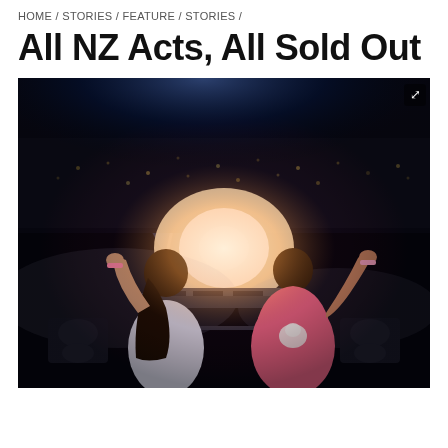HOME / STORIES / FEATURE / STORIES /
All NZ Acts, All Sold Out
[Figure (photo): Two performers viewed from behind on stage, arms raised toward a large crowd. One wears a white t-shirt and has long dark hair; the other wears a pink hoodie with an elephant logo. DJ equipment is visible on a table in front of them. The stage is lit with dramatic blue spotlights and a bright warm central light, with hazy smoke and a packed audience in the background.]